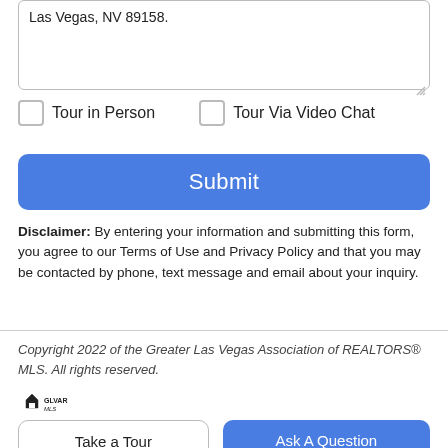Las Vegas, NV 89158.
Tour in Person
Tour Via Video Chat
Submit
Disclaimer: By entering your information and submitting this form, you agree to our Terms of Use and Privacy Policy and that you may be contacted by phone, text message and email about your inquiry.
Copyright 2022 of the Greater Las Vegas Association of REALTORS® MLS. All rights reserved.
[Figure (logo): Greater Las Vegas Association of REALTORS MLS logo]
Take a Tour
Ask A Question